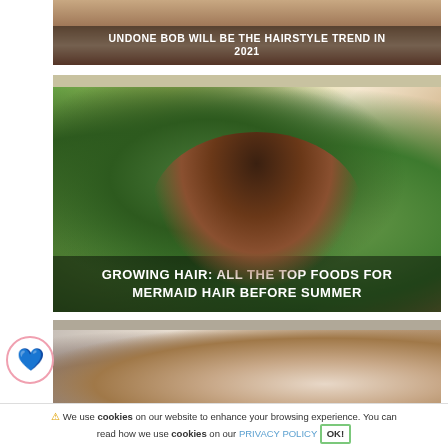[Figure (photo): Woman with bob hairstyle, partial view showing neck and shoulders]
UNDONE BOB WILL BE THE HAIRSTYLE TREND IN 2021
[Figure (photo): Woman with long wavy mermaid hair smiling outdoors with tropical greenery background]
GROWING HAIR: ALL THE TOP FOODS FOR MERMAID HAIR BEFORE SUMMER
[Figure (photo): Woman with curly natural hair, partial view]
⚠ We use cookies on our website to enhance your browsing experience. You can read how we use cookies on our PRIVACY POLICY OK!